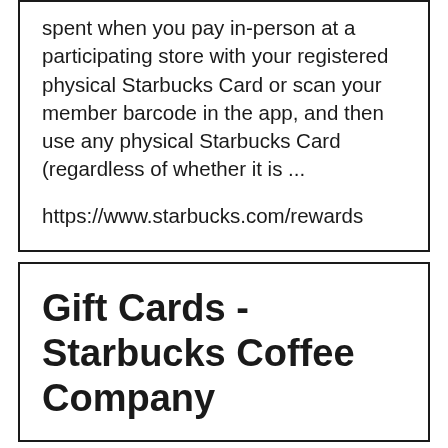spent when you pay in-person at a participating store with your registered physical Starbucks Card or scan your member barcode in the app, and then use any physical Starbucks Card (regardless of whether it is ...
https://www.starbucks.com/rewards
Gift Cards - Starbucks Coffee Company